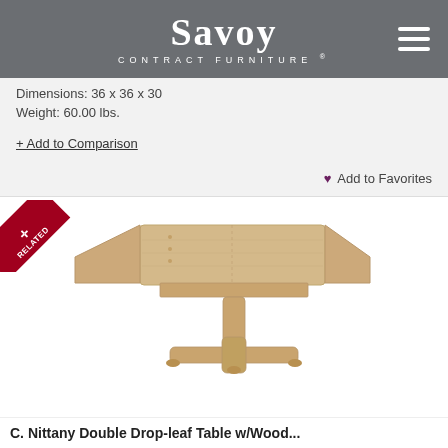Savoy Contract Furniture
Dimensions: 36 x 36 x 30
Weight: 60.00 lbs.
+ Add to Comparison
♥ Add to Favorites
[Figure (photo): Drop-leaf table with wood pedestal base and cross feet, shown with leaves partially dropped on both sides. Natural light wood finish.]
C. Nittany Double Drop-leaf Table w/Wood...